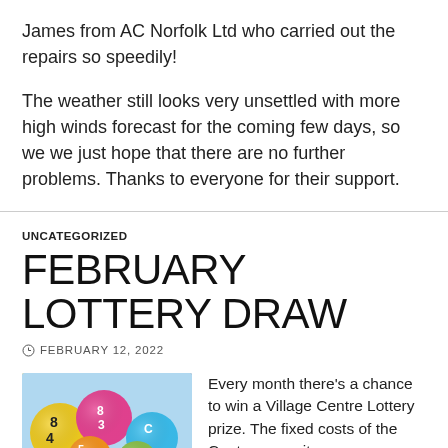James from AC Norfolk Ltd who carried out the repairs so speedily!
The weather still looks very unsettled with more high winds forecast for the coming few days, so we we just hope that there are no further problems. Thanks to everyone for their support.
UNCATEGORIZED
FEBRUARY LOTTERY DRAW
FEBRUARY 12, 2022
[Figure (photo): Colourful lottery balls with numbers on them]
Every month there’s a chance to win a Village Centre Lottery prize. The fixed costs of the Centre are quite